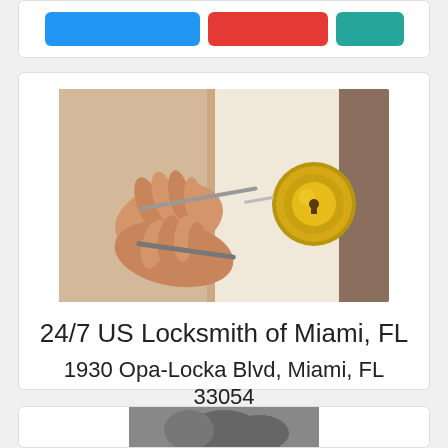[Figure (other): Partial top of a business listing card showing three colored buttons: blue, red/pink, and teal]
[Figure (photo): Photo of hands picking a door lock with a gold door knob visible]
24/7 US Locksmith of Miami, FL
1930 Opa-Locka Blvd, Miami, FL 33054
(305) 203-8770
View Profile
Claim
[Figure (photo): Partial bottom card showing top of a second business listing with a blurred photo]